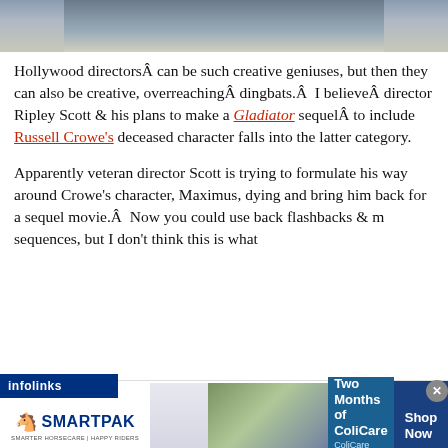[Figure (photo): Partial photo of a person outdoors, cropped at top of page]
Hollywood directorsÂ can be such creative geniuses, but then they can also be creative, overreachingÂ dingbats.Â  I believeÂ director Ripley Scott & his plans to make a Gladiator sequelÂ to include Russell Crowe's deceased character falls into the latter category.
Apparently veteran director Scott is trying to formulate his way around Crowe's character, Maximus, dying and bring him back for a sequel movie.Â  Now you could use back flashbacks & m sequences, but I don't think this is what
[Figure (infographic): Advertisement banner: SmartPak logo, 50% Off Two Months of ColiCare, ColiCare Eligible Supplements, CODE: COLICARE10, Shop Now button]